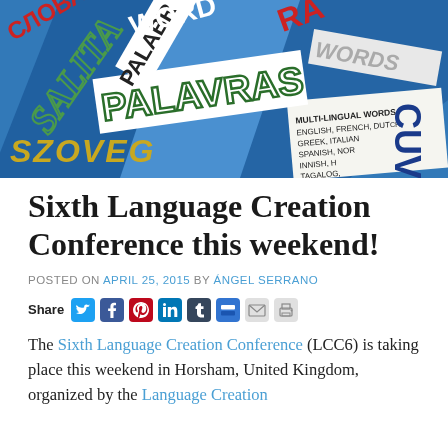[Figure (photo): A colorful collage of word stickers and labels in multiple languages including PALAVRAS, SZOVEG, SALITA, WORDS, CUVIN, and others on a bright blue background. A white label reads: MULTI-LINGUAL WORDS ENGLISH, FRENCH, DUTCH, GREEK, ITALIAN, SPANISH, NOR(WEGIAN), FINNISH, H(UNGARIAN), TAGALOG.]
Sixth Language Creation Conference this weekend!
POSTED ON APRIL 25, 2015 BY ÁNGEL SERRANO
Share [social icons]
The Sixth Language Creation Conference (LCC6) is taking place this weekend in Horsham, United Kingdom, organized by the Language Creation